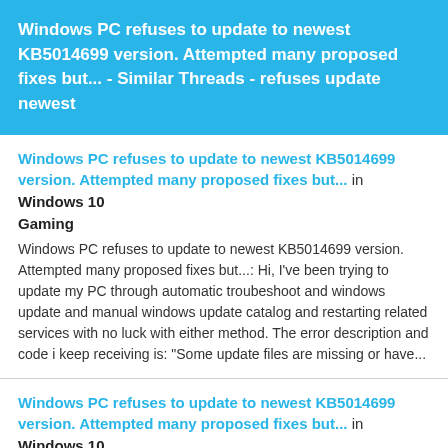Windows PC refuses to update to newest KB5014699 version. Attempted many proposed fixes but... - Similar Threads - refuses update newest
Windows PC refuses to update to newest KB5014699 version. Attempted many proposed fixes but... in Windows 10 Gaming
Windows PC refuses to update to newest KB5014699 version. Attempted many proposed fixes but...: Hi, I've been trying to update my PC through automatic troubeshoot and windows update and manual windows update catalog and restarting related services with no luck with either method. The error description and code i keep receiving is: "Some update files are missing or have...
Windows PC refuses to update to newest KB5014699 version. Attempted many proposed fixes but... in Windows 10 Software and Apps
Windows PC refuses to update to newest KB5014699 version. Attempted many proposed fixes but...: Hi, I've been trying to update my PC through automatic troubeshoot and windows update and manual windows update catalog and restarting related services with no luck with either method. The error